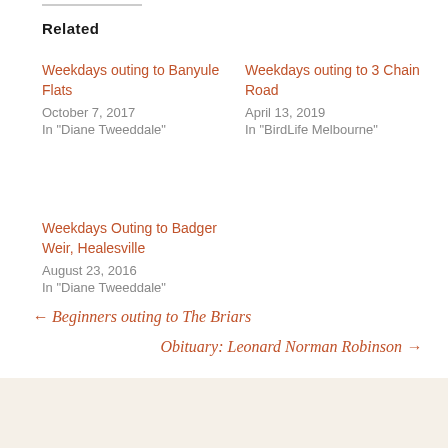Related
Weekdays outing to Banyule Flats
October 7, 2017
In "Diane Tweeddale"
Weekdays outing to 3 Chain Road
April 13, 2019
In "BirdLife Melbourne"
Weekdays Outing to Badger Weir, Healesville
August 23, 2016
In "Diane Tweeddale"
← Beginners outing to The Briars
Obituary: Leonard Norman Robinson →